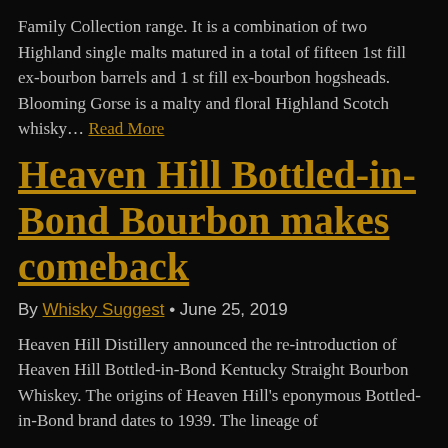Family Collection range. It is a combination of two Highland single malts matured in a total of fifteen 1st fill ex-bourbon barrels and 1 st fill ex-bourbon hogsheads. Blooming Gorse is a malty and floral Highland Scotch whisky… Read More
Heaven Hill Bottled-in-Bond Bourbon makes comeback
By Whisky Suggest • June 25, 2019
Heaven Hill Distillery announced the re-introduction of Heaven Hill Bottled-in-Bond Kentucky Straight Bourbon Whiskey. The origins of Heaven Hill's eponymous Bottled-in-Bond brand dates to 1939. The lineage of